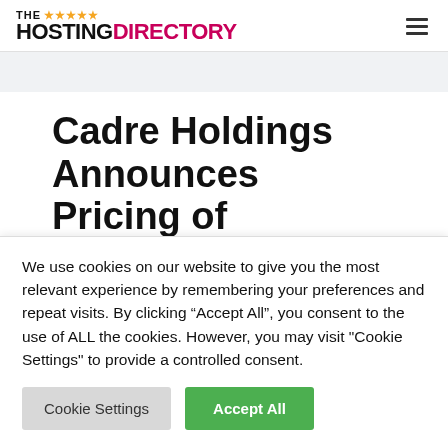THE ★★★★★ HOSTINGDIRECTORY
Cadre Holdings Announces Pricing of Public Primary and
We use cookies on our website to give you the most relevant experience by remembering your preferences and repeat visits. By clicking "Accept All", you consent to the use of ALL the cookies. However, you may visit "Cookie Settings" to provide a controlled consent.